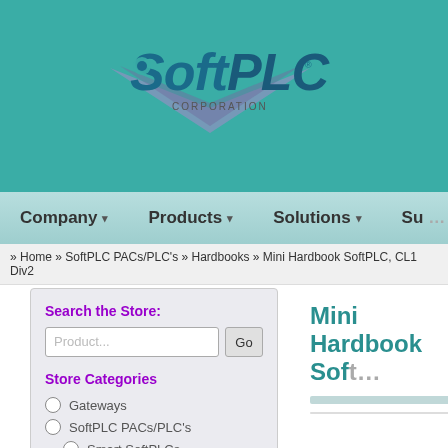[Figure (logo): SoftPLC Corporation logo with teal background]
Company ▾   Products ▾   Solutions ▾   Su...
» Home » SoftPLC PACs/PLC's » Hardbooks » Mini Hardbook SoftPLC, CL1 Div2
Search the Store:
Store Categories
Gateways
SoftPLC PACs/PLC's
Smart SoftPLCs
NeoPAC SoftPLCs
Hardbooks
Software / Firmware
Hardware Accessories
A-B PLC/HMI Upgrades
Mini Hardbook SoftPLC...
Size (I/O & MBTCP Server & EIP...
Lite (128 I/O, 2 MBTCP Servers,
Quantity  1